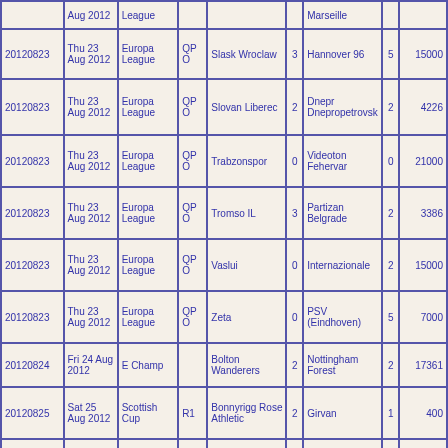| Date | Day | Competition | Rnd | Home | HS | Away | AS | Att |
| --- | --- | --- | --- | --- | --- | --- | --- | --- |
| 20120823 | Thu 23 Aug 2012 | Europa League | QPO | Slask Wroclaw | 3 | Hannover 96 | 5 | 15000 |
| 20120823 | Thu 23 Aug 2012 | Europa League | QPO | Slovan Liberec | 2 | Dnepr Dnepropetrovsk | 2 | 4226 |
| 20120823 | Thu 23 Aug 2012 | Europa League | QPO | Trabzonspor | 0 | Videoton Fehervar | 0 | 21000 |
| 20120823 | Thu 23 Aug 2012 | Europa League | QPO | Tromso IL | 3 | Partizan Belgrade | 2 | 3386 |
| 20120823 | Thu 23 Aug 2012 | Europa League | QPO | Vaslui | 0 | Internazionale | 2 | 15000 |
| 20120823 | Thu 23 Aug 2012 | Europa League | QPO | Zeta | 0 | PSV (Eindhoven) | 5 | 7000 |
| 20120824 | Fri 24 Aug 2012 | E Champ |  | Bolton Wanderers | 2 | Nottingham Forest | 2 | 17361 |
| 20120825 | Sat 25 Aug 2012 | Scottish Cup | R1 | Bonnyrigg Rose Athletic | 2 | Girvan | 1 | 400 |
| 20120825 | Sat 25 Aug 2012 | Scottish Cup | R1 | Buckie Thistle | 0 | Rothes | 0 | 250 |
| 20120825 | Sat |  |  |  |  |  |  |  |